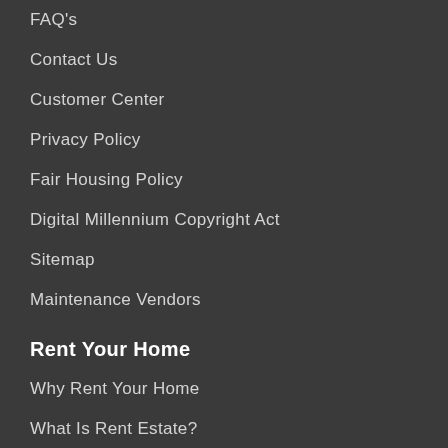FAQ's
Contact Us
Customer Center
Privacy Policy
Fair Housing Policy
Digital Millennium Copyright Act
Sitemap
Maintenance Vendors
Rent Your Home
Why Rent Your Home
What Is Rent Estate?
Free Rental Price Analysis
Tenant Placement Services
24/7 Turnkey Property Management